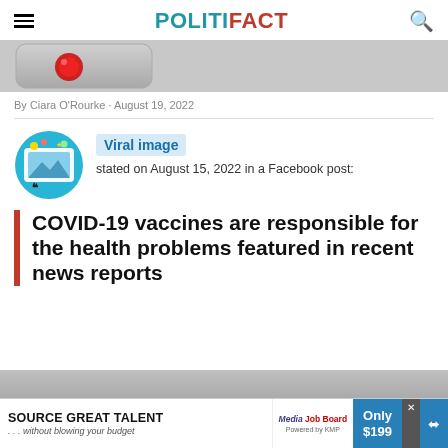POLITIFACT
[Figure (screenshot): Partial image showing a record button with red circle on grey background]
By Ciara O'Rourke · August 19, 2022
[Figure (illustration): Viral image source icon - circular illustration with social media figures]
Viral image stated on August 15, 2022 in a Facebook post:
COVID-19 vaccines are responsible for the health problems featured in recent news reports
[Figure (screenshot): Ad banner: SOURCE GREAT TALENT ... without blowing your budget | Media Job Board | Only $199]